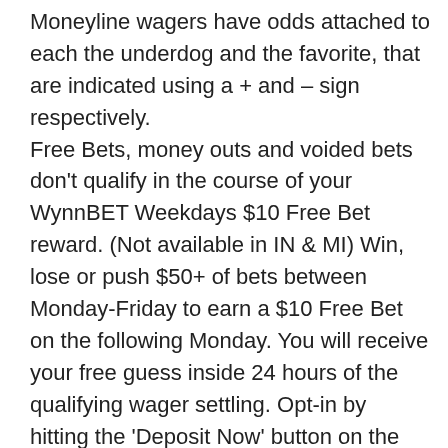Moneyline wagers have odds attached to each the underdog and the favorite, that are indicated using a + and – sign respectively. Free Bets, money outs and voided bets don't qualify in the course of your WynnBET Weekdays $10 Free Bet reward. (Not available in IN & MI) Win, lose or push $50+ of bets between Monday-Friday to earn a $10 Free Bet on the following Monday. You will receive your free guess inside 24 hours of the qualifying wager settling. Opt-in by hitting the 'Deposit Now' button on the promotion tile of WynnBET. Never miss the motion on any recreation if you use WynnBET's live-betting characteristic. Betting odds and payouts do vary from sportsbook to sportsbook, depending on property affiliation. Online betting is freely enjoyed in the nation of